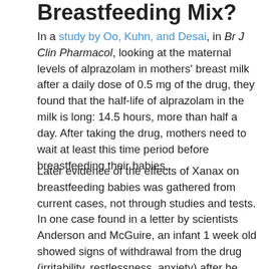Breastfeeding Mix?
In a study by Oo, Kuhn, and Desai, in Br J Clin Pharmacol, looking at the maternal levels of alprazolam in mothers' breast milk after a daily dose of 0.5 mg of the drug, they found that the half-life of alprazolam in the milk is long: 14.5 hours, more than half a day. After taking the drug, mothers need to wait at least this time period before breastfeeding their babies.
Later evidence of the effects of Xanax on breastfeeding babies was gathered from current cases, not through studies and tests. In one case found in a letter by scientists Anderson and McGuire, an infant 1 week old showed signs of withdrawal from the drug (irritability, restlessness, anxiety) after he stopped breastfeeding. His mother had been taking alprazolam after delivery. The case suggests the drug was in her